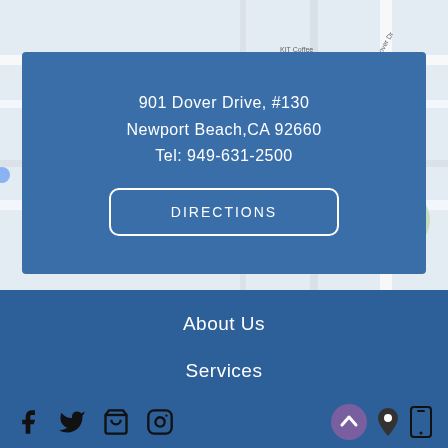[Figure (map): Google Maps style street map showing area around 901 Dover Drive, Newport Beach, CA. Shows streets, a park (green area), KIT Coffee, U.S. Bank Branch labels visible.]
901 Dover Drive, #130
Newport Beach,CA 92660
Tel: 949-631-2500
DIRECTIONS
About Us
Services
Reviews
[Figure (infographic): Social media icons: Facebook, Twitter, Google My Business (shopping bag), Instagram. Right side: purple circular arrow up button, location pin icon, mobile phone icon.]